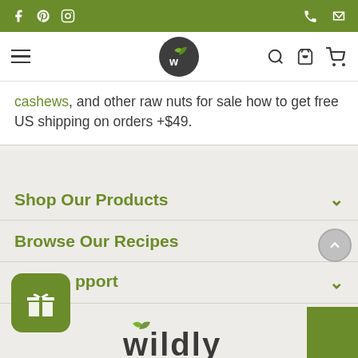Social media icons (Facebook, Pinterest, Instagram) and contact icons (phone, email) in green top bar
[Figure (screenshot): Website navigation bar with hamburger menu, circular W logo (dark circle with leaf-W), search icon, and cart icon]
cashews, and other raw nuts for sale how to get free US shipping on orders +$49.
Shop Our Products
Browse Our Recipes
Support
[Figure (logo): Wildly Organic logo at bottom — stylized W with leaf, text partially visible]